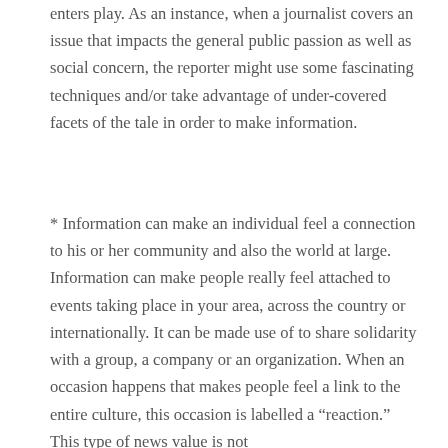enters play. As an instance, when a journalist covers an issue that impacts the general public passion as well as social concern, the reporter might use some fascinating techniques and/or take advantage of under-covered facets of the tale in order to make information.
* Information can make an individual feel a connection to his or her community and also the world at large. Information can make people really feel attached to events taking place in your area, across the country or internationally. It can be made use of to share solidarity with a group, a company or an organization. When an occasion happens that makes people feel a link to the entire culture, this occasion is labelled a “reaction.” This type of news value is not